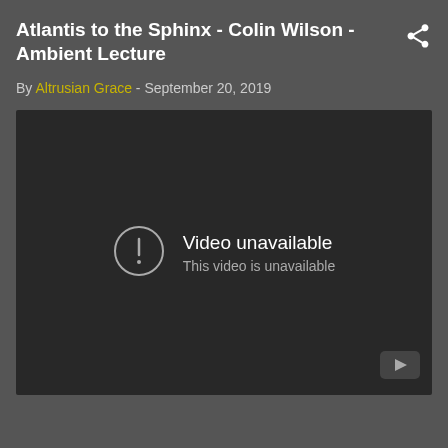Atlantis to the Sphinx - Colin Wilson - Ambient Lecture
By Altrusian Grace - September 20, 2019
[Figure (screenshot): Embedded video player showing 'Video unavailable - This video is unavailable' error message on a dark background, with a YouTube logo in the bottom-right corner.]